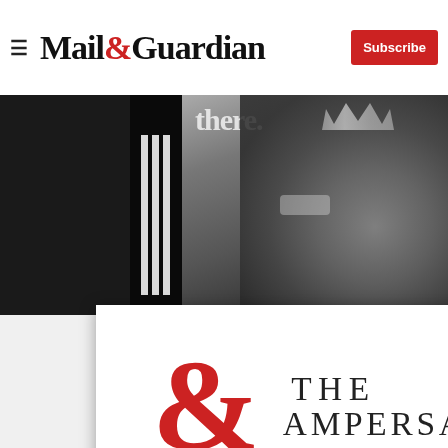Mail&Guardian | Subscribe
[Figure (photo): Black and white photo of a woman wearing a crown/tiara holding her hand up, with stylized text overlay 'there.' on a dark background. Left side has vertical white bars on black strip.]
[Figure (logo): The Ampersand newsletter logo — large red ampersand symbol with 'THE AMPERSAND' text in dark red/maroon beside it]
Stay informed. Every weekday.
E-mail Address
Signup now